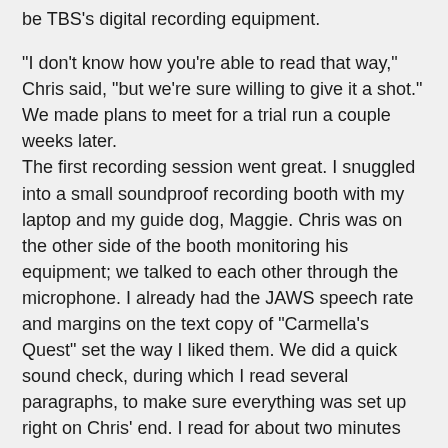be TBS's digital recording equipment.
"I don't know how you're able to read that way," Chris said, "but we're sure willing to give it a shot." We made plans to meet for a trial run a couple weeks later.
The first recording session went great. I snuggled into a small soundproof recording booth with my laptop and my guide dog, Maggie. Chris was on the other side of the booth monitoring his equipment; we talked to each other through the microphone. I already had the JAWS speech rate and margins on the text copy of "Carmella's Quest" set the way I liked them. We did a quick sound check, during which I read several paragraphs, to make sure everything was set up right on Chris' end. I read for about two minutes before Chris stopped me. He actually left the equipment and came around to the booth. When he pulled the door open, I was amused to note that it made that weird sucking noise refrigerator doors make when they're pulled open. "This is going to be great!" he said. "You really have the voice for narrating. I can't wait to let